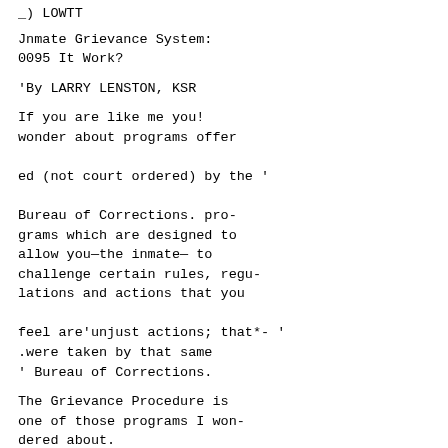_) LOWTT
Jnmate Grievance System:
0095 It Work?
'By LARRY LENSTON, KSR
If you are like me you! wonder about programs offer ed (not court ordered) by the ' Bureau of Corrections. programs which are designed to allow you—the inmate— to challenge certain rules, regulations and actions that you feel are'unjust actions; that*- ' .were taken by that same ' Bureau of Corrections.
The Grievance Procedure is one of those programs I wondered about.
Recently, I had the opportunity to see how the Grievance